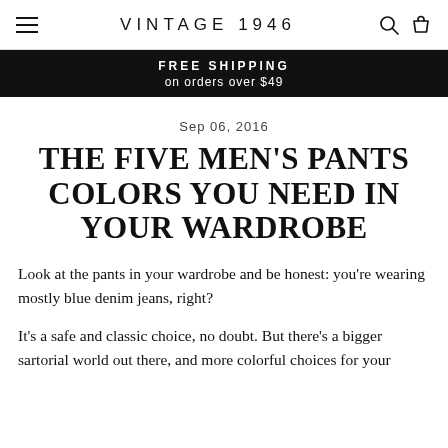VINTAGE 1946
FREE SHIPPING on orders over $49
Sep 06, 2016
THE FIVE MEN'S PANTS COLORS YOU NEED IN YOUR WARDROBE
Look at the pants in your wardrobe and be honest: you're wearing mostly blue denim jeans, right?
It's a safe and classic choice, no doubt. But there's a bigger sartorial world out there, and more colorful choices for your